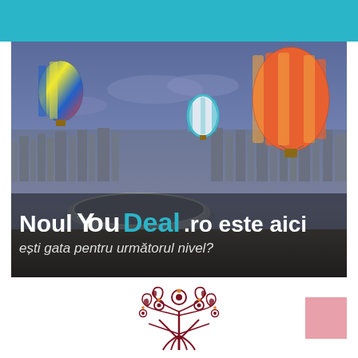[Figure (illustration): Teal colored header bar at top of page]
[Figure (photo): Aerial city view with hot air balloons (blue/yellow/red multicolor, white/teal, and large orange/red striped balloon) floating over a city skyline with a stadium visible in the foreground. Text overlay reads 'Noul YouDeal.ro este aici' and subtitle 'ești gata pentru următorul nivel?']
[Figure (logo): Decorative ornate logo with dark red/maroon floral/arabesque design, resembling a stylized fountain or fleur with scrollwork]
[Figure (illustration): Small pink/rose colored square block in bottom right area]